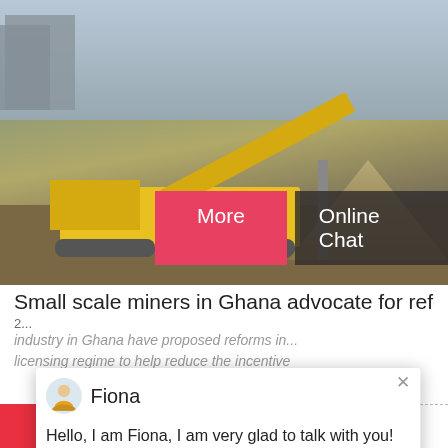[Figure (photo): Aerial view of yellow mining machinery and equipment at a mining site with grey buildings and conveyor belts. Two buttons overlaid: 'More' (red) and 'Online Chat' (dark).]
Small scale miners in Ghana advocate for reform
Hello, I am Fiona, I am very glad to talk with you!
industry in Ghana have proposed reforms in... licensing regime to help reduce the incentive
[Figure (photo): Bottom strip showing construction machinery against a blue sky with clouds.]
[Figure (photo): Customer service representative (woman with headset) with a blue badge showing '1'. Below: 'Need questions & suggestion?' and 'Chat Now' button.]
Chat Online
Enquire